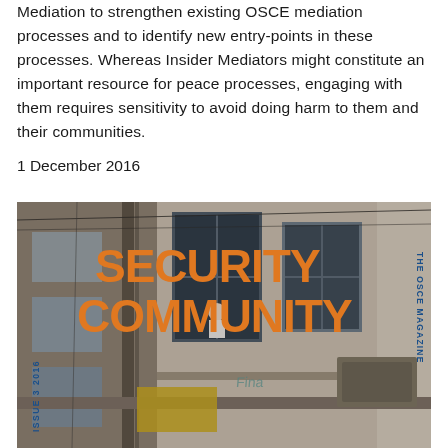Mediation to strengthen existing OSCE mediation processes and to identify new entry-points in these processes. Whereas Insider Mediators might constitute an important resource for peace processes, engaging with them requires sensitivity to avoid doing harm to them and their communities.
1 December 2016
[Figure (photo): Magazine cover of 'Security Community' Issue 3 2016, The OSCE Magazine. Shows a photograph of a deteriorating building facade with a person visible in a window. Large orange bold text reads 'SECURITY COMMUNITY' overlaid on the photo. Blue vertical text on right reads 'THE OSCE MAGAZINE'. Blue vertical text on left reads 'ISSUE 3 2016'.]